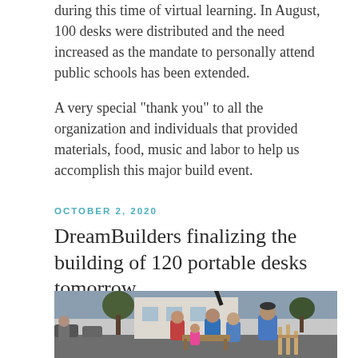during this time of virtual learning. In August, 100 desks were distributed and the need increased as the mandate to personally attend public schools has been extended.
A very special "thank you" to all the organization and individuals that provided materials, food, music and labor to help us accomplish this major build event.
OCTOBER 2, 2020
DreamBuilders finalizing the building of 120 portable desks tomorrow
[Figure (photo): Outdoor scene showing a group of people building portable desks in a parking lot area. People are wearing blue shirts and masks, working with wood pieces. Trees and a white building are visible in the background.]